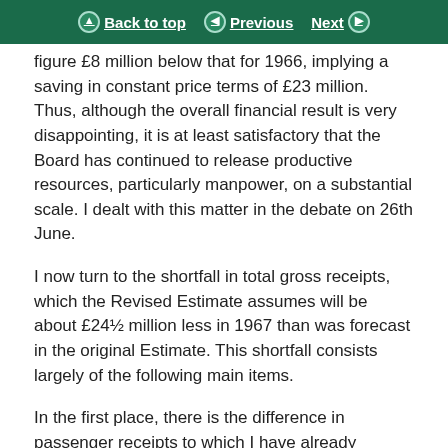Back to top | Previous | Next
figure £8 million below that for 1966, implying a saving in constant price terms of £23 million. Thus, although the overall financial result is very disappointing, it is at least satisfactory that the Board has continued to release productive resources, particularly manpower, on a substantial scale. I dealt with this matter in the debate on 26th June.
I now turn to the shortfall in total gross receipts, which the Revised Estimate assumes will be about £24½ million less in 1967 than was forecast in the original Estimate. This shortfall consists largely of the following main items.
In the first place, there is the difference in passenger receipts to which I have already referred of almost